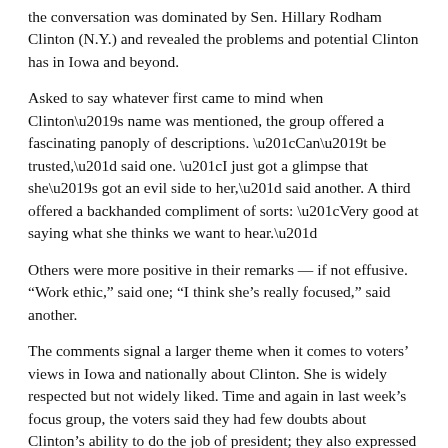the conversation was dominated by Sen. Hillary Rodham Clinton (N.Y.) and revealed the problems and potential Clinton has in Iowa and beyond.
Asked to say whatever first came to mind when Clinton’s name was mentioned, the group offered a fascinating panoply of descriptions. “Can’t be trusted,” said one. “I just got a glimpse that she’s got an evil side to her,” said another. A third offered a backhanded compliment of sorts: “Very good at saying what she thinks we want to hear.”
Others were more positive in their remarks — if not effusive. “Work ethic,” said one; “I think she’s really focused,” said another.
The comments signal a larger theme when it comes to voters’ views in Iowa and nationally about Clinton. She is widely respected but not widely liked. Time and again in last week’s focus group, the voters said they had few doubts about Clinton’s ability to do the job of president; they also expressed a frustration with the essential unknowability of Clinton as a person.
Take away her husband and the ridiculously favorable press she